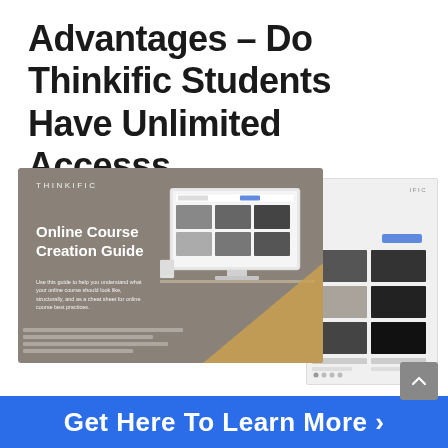Advantages – Do Thinkific Students Have Unlimited Accesss
[Figure (illustration): Thinkific Online Course Creation Guide promotional image showing a guide booklet cover with brand name THINKIFIC, title 'Online Course Creation Guide', descriptive text, and a desktop monitor mockup showing a course catalog interface. Behind it is a partially visible second document/page with thumbnail grid images.]
Get Here To Learn More >